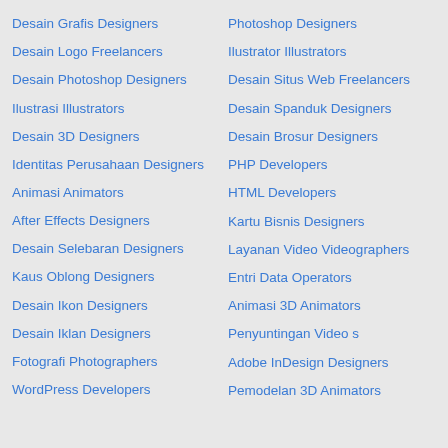Desain Grafis Designers
Photoshop Designers
Desain Logo Freelancers
Ilustrator Illustrators
Desain Photoshop Designers
Desain Situs Web Freelancers
Ilustrasi Illustrators
Desain Spanduk Designers
Desain 3D Designers
Desain Brosur Designers
Identitas Perusahaan Designers
PHP Developers
HTML Developers
Animasi Animators
Kartu Bisnis Designers
After Effects Designers
Layanan Video Videographers
Desain Selebaran Designers
Entri Data Operators
Kaus Oblong Designers
Animasi 3D Animators
Desain Ikon Designers
Penyuntingan Video s
Desain Iklan Designers
Adobe InDesign Designers
Fotografi Photographers
Pemodelan 3D Animators
WordPress Developers